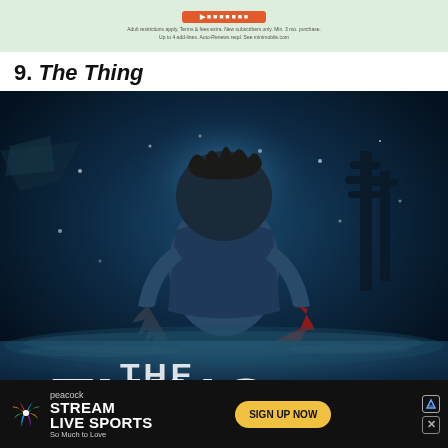[Figure (other): Top advertisement banner with green background, orange/red button, and fine print: 'Adult restrictions apply. Terms & fees extra. New subscribers only. Min. 3 mo. purchase. Up to 4 add-lines. Auto-Renews reqd. See mint mobile.com']
9. The Thing
[Figure (photo): Movie poster for 'The Thing' showing a figure from behind in a blue winter jacket in a snowy scene, with monstrous clawed hands, and large title text 'THE THING' at the bottom]
[Figure (other): Peacock streaming service advertisement banner at the bottom. Shows Peacock logo, text 'STREAM LIVE SPORTS So Much to Love' and a yellow 'SIGN UP NOW' button. Has close and ad icon buttons in top right.]